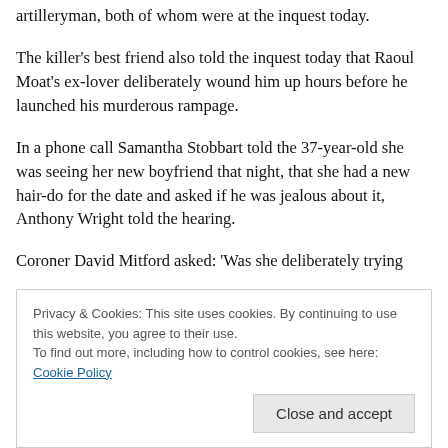artilleryman, both of whom were at the inquest today.
The killer's best friend also told the inquest today that Raoul Moat's ex-lover deliberately wound him up hours before he launched his murderous rampage.
In a phone call Samantha Stobbart told the 37-year-old she was seeing her new boyfriend that night, that she had a new hair-do for the date and asked if he was jealous about it, Anthony Wright told the hearing.
Coroner David Mitford asked: 'Was she deliberately trying
Privacy & Cookies: This site uses cookies. By continuing to use this website, you agree to their use.
To find out more, including how to control cookies, see here: Cookie Policy